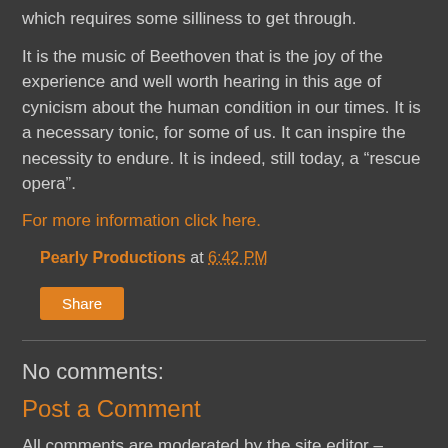which requires some silliness to get through.
It is the music of Beethoven that is the joy of the experience and well worth hearing in this age of cynicism about the human condition in our times. It is a necessary tonic, for some of us. It can inspire the necessity to endure. It is indeed, still today, a “rescue opera”.
For more information click here.
Pearly Productions at 6:42 PM
Share
No comments:
Post a Comment
All comments are moderated by the site editor – so you can expect to wait a few days before your comments are posted (or not). Contact